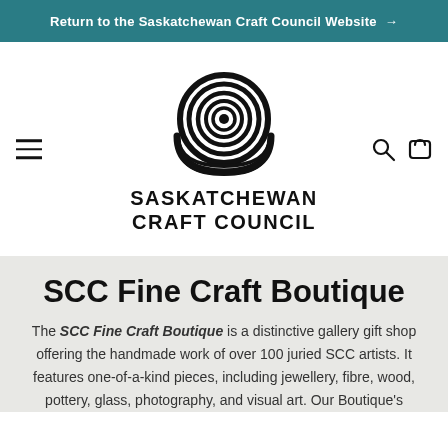Return to the Saskatchewan Craft Council Website →
[Figure (logo): Saskatchewan Craft Council logo: a spiral shell shape above bold text reading SASKATCHEWAN CRAFT COUNCIL]
SCC Fine Craft Boutique
The SCC Fine Craft Boutique is a distinctive gallery gift shop offering the handmade work of over 100 juried SCC artists. It features one-of-a-kind pieces, including jewellery, fibre, wood, pottery, glass, photography, and visual art. Our Boutique's